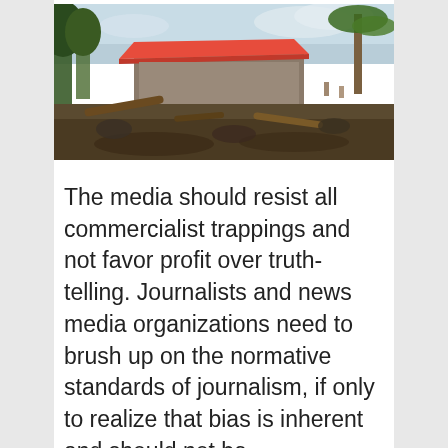[Figure (photo): Flood or mudslide disaster scene showing a damaged building with red roof, fallen trees, debris, and muddy ground. Palm trees visible in background under cloudy sky.]
The media should resist all commercialist trappings and not favor profit over truth-telling. Journalists and news media organizations need to brush up on the normative standards of journalism, if only to realize that bias is inherent and should not be